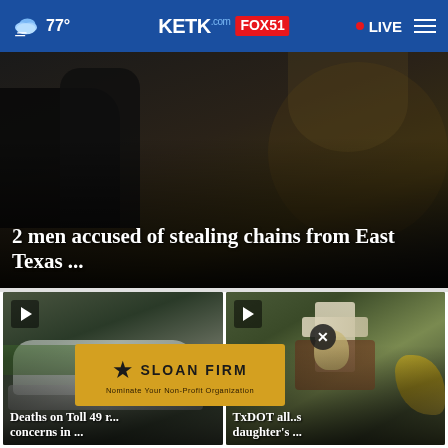77° KETK.com FOX51 • LIVE
[Figure (photo): Hero news image showing people at what appears to be a street scene, dark background with crowd]
2 men accused of stealing chains from East Texas ...
[Figure (photo): Video thumbnail of a crashed silver car with green vegetation, play button overlay]
Deaths on Toll 49 r... concerns in ...
[Figure (photo): Video thumbnail showing a memorial cross with stuffed animal, play button overlay]
TxDOT allows ... p daughter's ...
[Figure (other): Advertisement banner for Sloan Firm - Nominate Your Non-Profit Organization]
[Figure (other): Close (X) button overlay on ad]